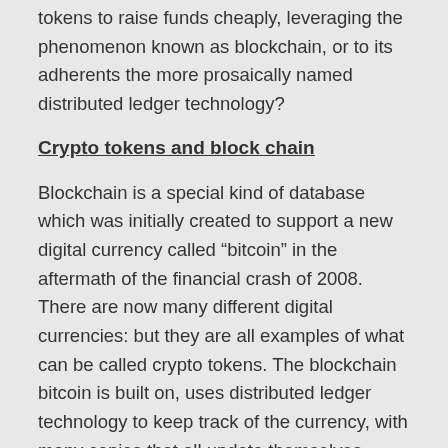tokens to raise funds cheaply, leveraging the phenomenon known as blockchain, or to its adherents the more prosaically named distributed ledger technology?
Crypto tokens and block chain
Blockchain is a special kind of database which was initially created to support a new digital currency called “bitcoin” in the aftermath of the financial crash of 2008. There are now many different digital currencies: but they are all examples of what can be called crypto tokens. The blockchain bitcoin is built on, uses distributed ledger technology to keep track of the currency, with many copies that all update themselves, using blocks of transactions when people trade the currency to form an immutable record, a blockchain.